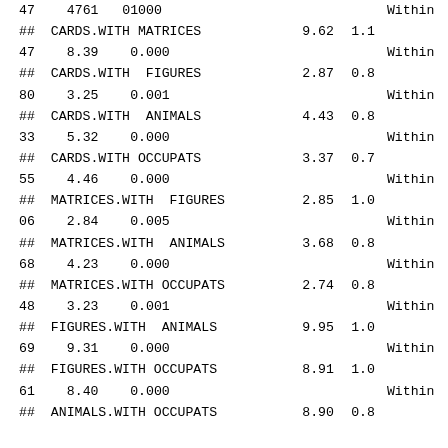|  |  |  |  |  |
| --- | --- | --- | --- | --- |
| 47 |  | 4761 | 01000 | Within |
| ## | CARDS.WITH MATRICES | 9.62 | 1.1 |  |
| 47 | 8.39 | 0.000 |  | Within |
| ## | CARDS.WITH  FIGURES | 2.87 | 0.8 |  |
| 80 | 3.25 | 0.001 |  | Within |
| ## | CARDS.WITH  ANIMALS | 4.43 | 0.8 |  |
| 33 | 5.32 | 0.000 |  | Within |
| ## | CARDS.WITH OCCUPATS | 3.37 | 0.7 |  |
| 55 | 4.46 | 0.000 |  | Within |
| ## | MATRICES.WITH  FIGURES | 2.85 | 1.0 |  |
| 06 | 2.84 | 0.005 |  | Within |
| ## | MATRICES.WITH  ANIMALS | 3.68 | 0.8 |  |
| 68 | 4.23 | 0.000 |  | Within |
| ## | MATRICES.WITH OCCUPATS | 2.74 | 0.8 |  |
| 48 | 3.23 | 0.001 |  | Within |
| ## | FIGURES.WITH  ANIMALS | 9.95 | 1.0 |  |
| 69 | 9.31 | 0.000 |  | Within |
| ## | FIGURES.WITH OCCUPATS | 8.91 | 1.0 |  |
| 61 | 8.40 | 0.000 |  | Within |
| ## | ANIMALS.WITH OCCUPATS | 8.90 | 0.8 |  |